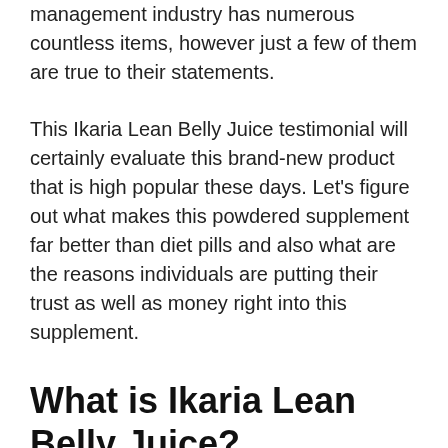made with chemicals. Now, the weight management industry has numerous countless items, however just a few of them are true to their statements.
This Ikaria Lean Belly Juice testimonial will certainly evaluate this brand-new product that is high popular these days. Let’s figure out what makes this powdered supplement far better than diet pills and also what are the reasons individuals are putting their trust as well as money right into this supplement.
What is Ikaria Lean Belly Juice?